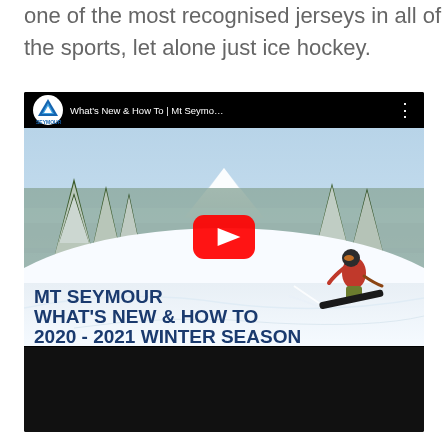one of the most recognised jerseys in all of the sports, let alone just ice hockey.
[Figure (screenshot): YouTube video thumbnail for 'What's New & How To | Mt Seymo...' showing a snowboarder in red jacket riding deep powder snow on Mt Seymour with snowy trees and mountain vista in background. Text overlay reads 'MT SEYMOUR WHAT'S NEW & HOW TO 2020 - 2021 WINTER SEASON'. YouTube play button visible in center.]